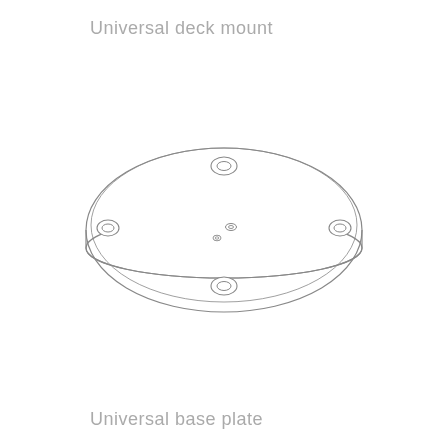Universal deck mount
[Figure (engineering-diagram): Isometric top-down view of a circular universal deck mount base plate with a large outer ellipse, a slightly smaller inner ellipse giving a rim/edge effect, four evenly spaced mounting holes near the perimeter (top, bottom, left, right), two small countersunk holes near the center, and one small central hole.]
Universal base plate